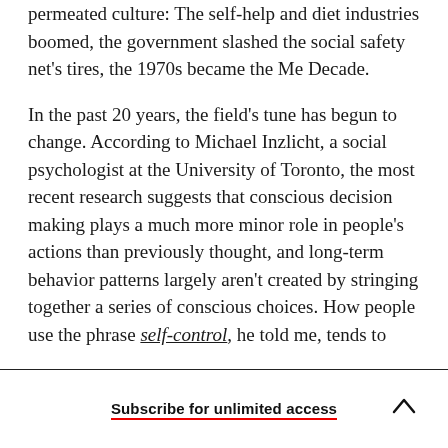permeated culture: The self-help and diet industries boomed, the government slashed the social safety net's tires, the 1970s became the Me Decade.
In the past 20 years, the field's tune has begun to change. According to Michael Inzlicht, a social psychologist at the University of Toronto, the most recent research suggests that conscious decision making plays a much more minor role in people's actions than previously thought, and long-term behavior patterns largely aren't created by stringing together a series of conscious choices. How people use the phrase self-control, he told me, tends to
Subscribe for unlimited access